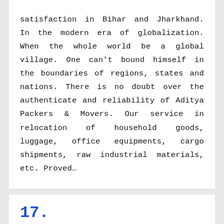satisfaction in Bihar and Jharkhand. In the modern era of globalization. When the whole world be a global village. One can't bound himself in the boundaries of regions, states and nations. There is no doubt over the authenticate and reliability of Aditya Packers & Movers. Our service in relocation of household goods, luggage, office equipments, cargo shipments, raw industrial materials, etc. Proved...
17.